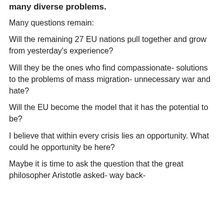many diverse problems.
Many questions remain:
Will the remaining 27 EU nations pull together and grow from yesterday's experience?
Will they be the ones who find compassionate- solutions to the problems of mass migration- unnecessary war and hate?
Will the EU become the model that it has the potential to be?
I believe that within every crisis lies an opportunity. What could he opportunity be here?
Maybe it is time to ask the question that the great philosopher Aristotle asked- way back-